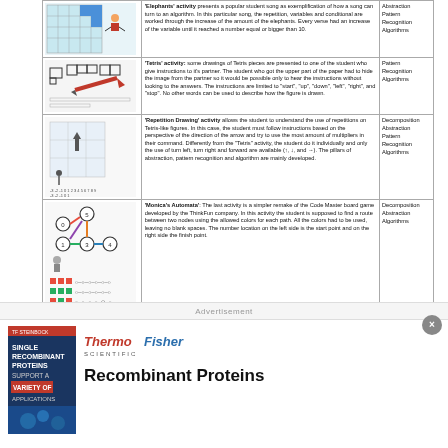| Image | Description | Tags |
| --- | --- | --- |
| [Elephant activity image] | 'Elephants' activity presents a popular student song as exemplification of how a song can turn to an algorithm. In this particular song, the repetition, variables and conditional are worked through the increase of the amount of the elephants. Every verse had an increase of the variable until it reached a number equal or bigger than 10. | Abstraction Pattern Recognition Algorithms |
| [Tetris drawing image] | 'Tetris' activity: some drawings of Tetris pieces are presented to one of the student who give instructions to it's partner. The student who got the upper part of the paper had to hide the image from the partner so it would be possible only to hear the instructions without looking to the answers. The instructions are limited to 'start', 'up', 'down', 'left', 'right', and 'stop'. No other words can be used to describe how the figure is drawn. | Pattern Recognition Algorithms |
| [Repetition Drawing image] | 'Repetition Drawing' activity allows the student to understand the use of repetitions on Tetris-like figures. In this case, the student must follow instructions based on the perspective of the direction of the arrow and try to use the most amount of multipliers in their command. Differently from the 'Tetris' activity, the student do it individually and only the use of turn left, turn right and forward are available (↑, ↓, and →). The pillars of abstraction, pattern recognition and algorithm are mainly developed. | Decomposition Abstraction Pattern Recognition Algorithms |
| [Monica's Automata image] | 'Monica's Automata': The last activity is a simpler remake of the Code Master board game developed by the ThinkFun company. In this activity the student is supposed to find a route between two nodes using the allowed colors for each path. All the colors had to be used, leaving no blank spaces. The number location on the left side is the start point and on the right side the finish point. | Decomposition Abstraction Algorithms |
Advertisement
[Figure (logo): ThermoFisher Scientific logo with red italic text 'Thermo Fisher' and 'SCIENTIFIC' below]
[Figure (photo): Book cover: Thermo Fisher Scientific Recombinant Proteins]
Recombinant Proteins